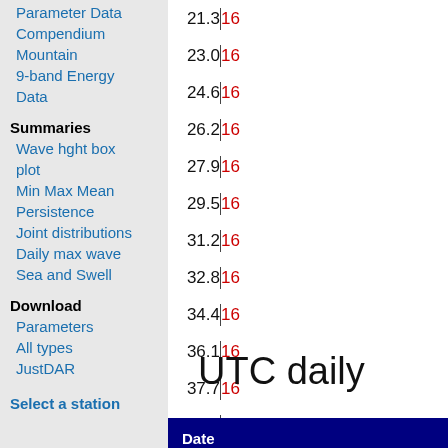Parameter Data
Compendium
Mountain
9-band Energy Data
Summaries
Wave hght box plot
Min Max Mean
Persistence
Joint distributions
Daily max wave
Sea and Swell
Download
Parameters
All types
JustDAR
Select a station
21.3 16
23.0 16
24.6 16
26.2 16
27.9 16
29.5 16
31.2 16
32.8 16
34.4 16
36.1 16
37.7 16
39.4 16
UTC daily
| Date (UTC) |
| --- |
| 1979-03-01 22:0 |